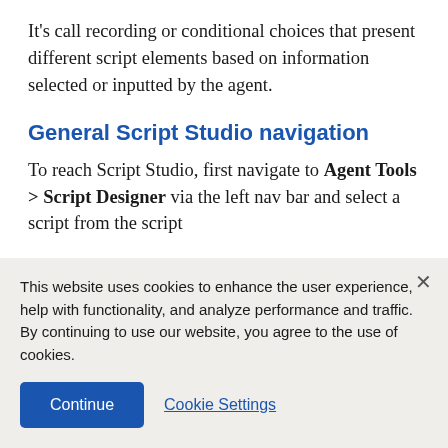It's call recording or conditional choices that present different script elements based on information selected or inputted by the agent.
General Script Studio navigation
To reach Script Studio, first navigate to Agent Tools > Script Designer via the left nav bar and select a script from the script
This website uses cookies to enhance the user experience, help with functionality, and analyze performance and traffic. By continuing to use our website, you agree to the use of cookies.